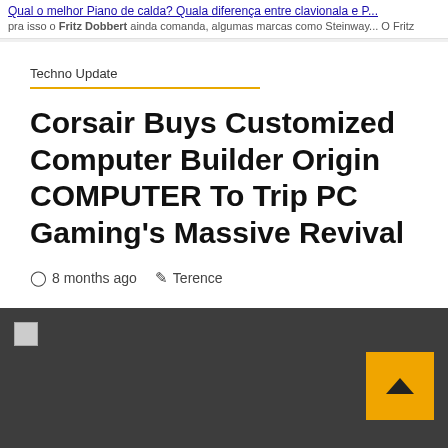Qual o melhor Piano de calda? Quala diferença entre clavionala e P...
pra isso o Fritz Dobbert ainda comanda, algumas marcas como Steinway... O Fritz
Techno Update
Corsair Buys Customized Computer Builder Origin COMPUTER To Trip PC Gaming's Massive Revival
8 months ago   Terence
The Computer Expertise Group pursues research in broad areas of Computer Networking, Sensor Networks, Embedded Systems, Parallel and Distributed Processing,...
[Figure (screenshot): Dark gray footer panel with a broken image icon in the top left and an orange/yellow scroll-to-top button with a chevron/caret up arrow on the right side.]